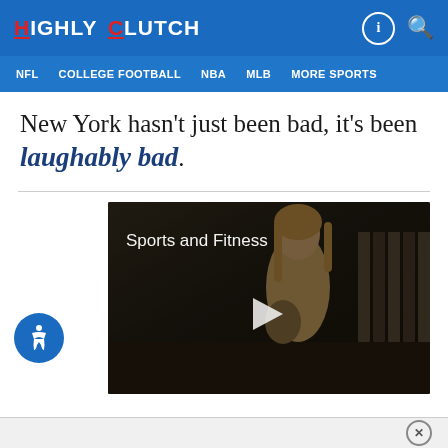HIGHLY CLUTCH
NFL | COLLEGE FOOTBALL | NBA | MLB | MORE SPORTS
New York hasn't just been bad, it's been laughably bad.
[Figure (screenshot): Video thumbnail showing a woman holding a trophy in a gymnasium, with 'Sports and Fitness' text overlay and a play button in the center]